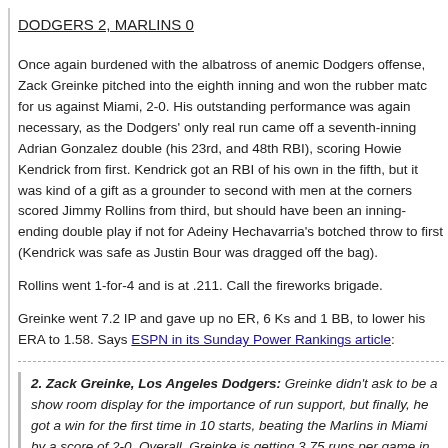DODGERS 2, MARLINS 0
Once again burdened with the albatross of anemic Dodgers offense, Zack Greinke pitched into the eighth inning and won the rubber match for us against Miami, 2-0. His outstanding performance was again necessary, as the Dodgers' only real run came off a seventh-inning Adrian Gonzalez double (his 23rd, and 48th RBI), scoring Howie Kendrick from first. Kendrick got an RBI of his own in the fifth, but it was kind of a gift as a grounder to second with men at the corners scored Jimmy Rollins from third, but should have been an inning-ending double play if not for Adeiny Hechavarria's botched throw to first (Kendrick was safe as Justin Bour was dragged off the bag).
Rollins went 1-for-4 and is at .211. Call the fireworks brigade.
Greinke went 7.2 IP and gave up no ER, 6 Ks and 1 BB, to lower his ERA to 1.58. Says ESPN in its Sunday Power Rankings article:
2. Zack Greinke, Los Angeles Dodgers: Greinke didn't ask to be a show room display for the importance of run support, but finally, he got a win for the first time in 10 starts, beating the Marlins in Miami by a score of 2-0. Overall, Greinke is getting 3.75 runs per game in support on the season, but that's counting a lot of scoring that happened in his first six starts, when he got